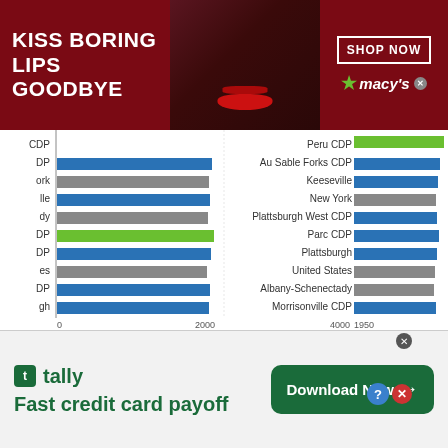[Figure (infographic): Macy's advertisement banner: 'KISS BORING LIPS GOODBYE' with woman's face and red lips, SHOP NOW button and Macy's logo]
[Figure (bar-chart): Horizontal bar chart comparing locations]
[Figure (infographic): Tally advertisement: 'Fast credit card payoff' with Download Now button]